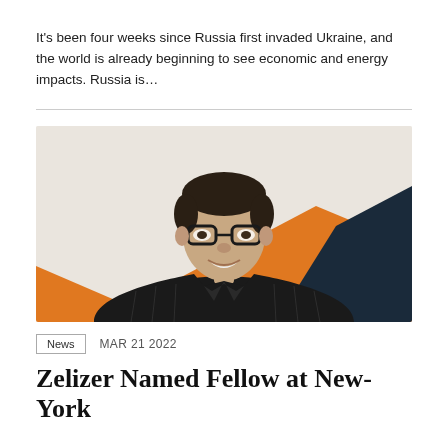It's been four weeks since Russia first invaded Ukraine, and the world is already beginning to see economic and energy impacts. Russia is…
[Figure (photo): Professional headshot of a man in a dark pinstripe suit and striped tie, wearing glasses, smiling, against a beige/white background with orange and dark blue/navy geometric shapes in the background.]
News   MAR 21 2022
Zelizer Named Fellow at New-York